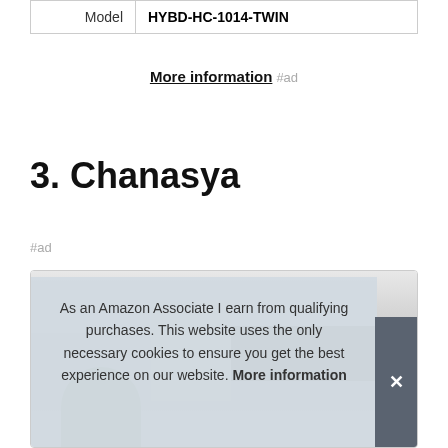| Model | HYBD-HC-1014-TWIN |
| --- | --- |
| Model | HYBD-HC-1014-TWIN |
More information #ad
3. Chanasya
#ad
[Figure (photo): Product photo area showing a bed frame or headboard, partially visible with a dark bar element and green plant.]
As an Amazon Associate I earn from qualifying purchases. This website uses the only necessary cookies to ensure you get the best experience on our website. More information